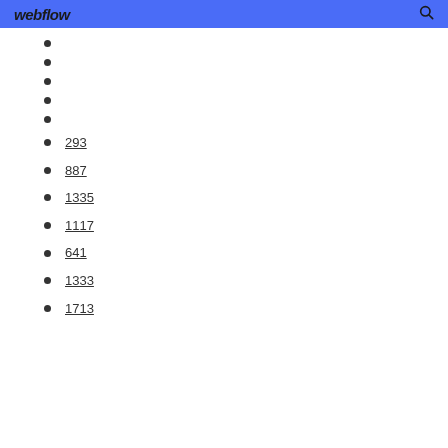webflow
293
887
1335
1117
641
1333
1713